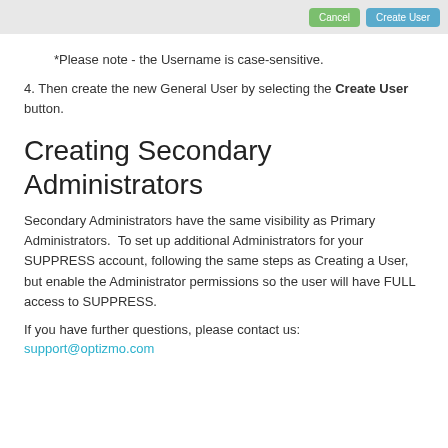[Figure (screenshot): Top bar with Cancel and Create User buttons]
*Please note - the Username is case-sensitive.
4. Then create the new General User by selecting the Create User button.
Creating Secondary Administrators
Secondary Administrators have the same visibility as Primary Administrators.  To set up additional Administrators for your SUPPRESS account, following the same steps as Creating a User, but enable the Administrator permissions so the user will have FULL access to SUPPRESS.
If you have further questions, please contact us:
support@optizmo.com